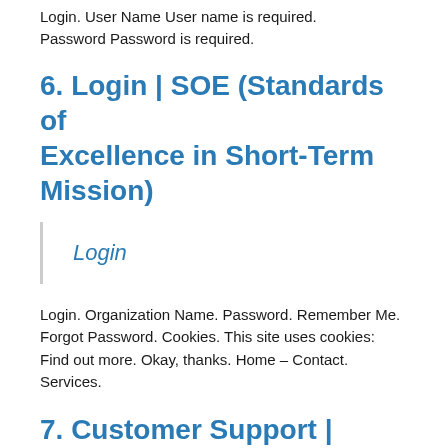Login. User Name User name is required. Password Password is required.
6. Login | SOE (Standards of Excellence in Short-Term Mission)
Login
Login. Organization Name. Password. Remember Me. Forgot Password. Cookies. This site uses cookies: Find out more. Okay, thanks. Home – Contact. Services.
7. Customer Support | Standards of Excellence